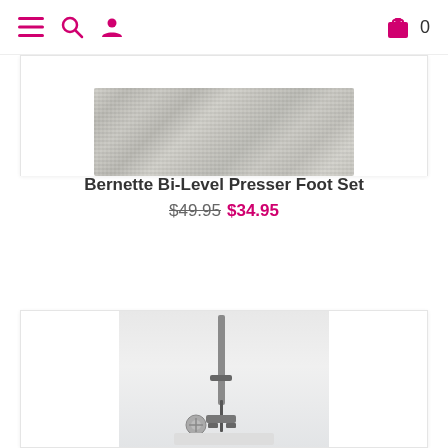Navigation bar with menu, search, account icons and shopping cart (0 items)
[Figure (photo): Partial product card showing a grey knit/fabric texture image cropped at top]
Bernette Bi-Level Presser Foot Set
$49.95 $34.95
[Figure (photo): Partial product card showing a sewing machine needle/presser foot close-up photo]